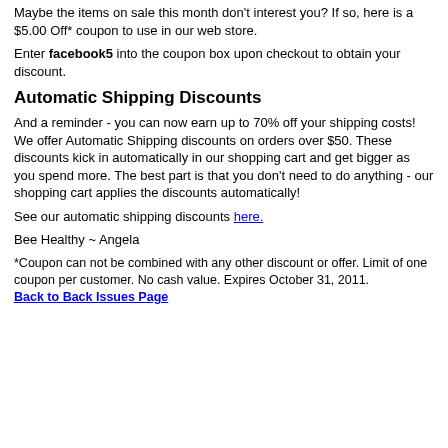Maybe the items on sale this month don't interest you? If so, here is a $5.00 Off* coupon to use in our web store.
Enter facebook5 into the coupon box upon checkout to obtain your discount.
Automatic Shipping Discounts
And a reminder - you can now earn up to 70% off your shipping costs! We offer Automatic Shipping discounts on orders over $50. These discounts kick in automatically in our shopping cart and get bigger as you spend more. The best part is that you don't need to do anything - our shopping cart applies the discounts automatically!
See our automatic shipping discounts here.
Bee Healthy ~ Angela
*Coupon can not be combined with any other discount or offer. Limit of one coupon per customer. No cash value. Expires October 31, 2011.
Back to Back Issues Page